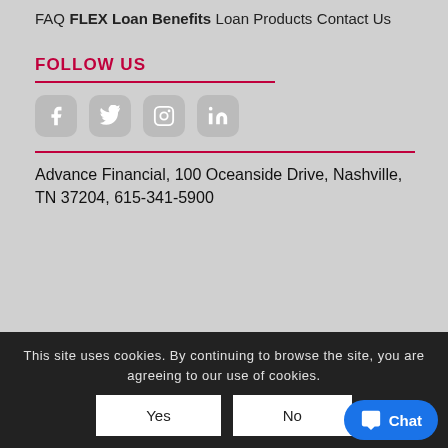FAQ
FLEX Loan Benefits
Loan Products
Contact Us
FOLLOW US
[Figure (other): Social media icons: Facebook, Twitter, Instagram, LinkedIn]
Advance Financial, 100 Oceanside Drive, Nashville, TN 37204, 615-341-5900
This site uses cookies. By continuing to browse the site, you are agreeing to our use of cookies.
Yes | No
Chat